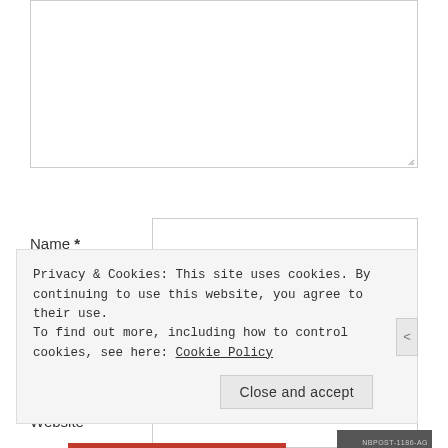[Figure (screenshot): A textarea input field (empty, resizable) for comment entry]
Name *
[Figure (screenshot): Text input field for Name]
Email *
[Figure (screenshot): Text input field for Email]
Website
[Figure (screenshot): Text input field for Website]
Privacy & Cookies: This site uses cookies. By continuing to use this website, you agree to their use.
To find out more, including how to control cookies, see here: Cookie Policy
Close and accept